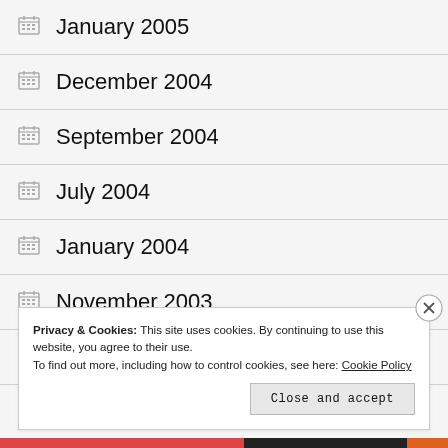January 2005
December 2004
September 2004
July 2004
January 2004
November 2003
October 2003
Privacy & Cookies: This site uses cookies. By continuing to use this website, you agree to their use.
To find out more, including how to control cookies, see here: Cookie Policy
Close and accept